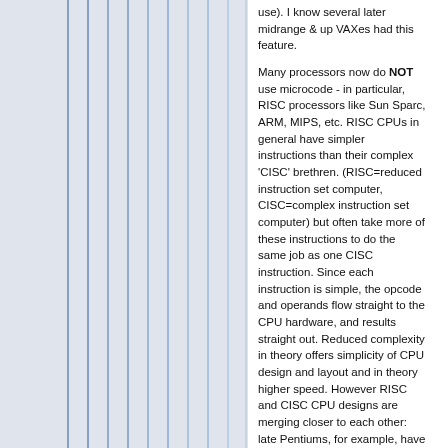use). I know several later midrange & up VAXes had this feature.

Many processors now do NOT use microcode - in particular, RISC processors like Sun Sparc, ARM, MIPS, etc. RISC CPUs in general have simpler instructions than their complex 'CISC' brethren. (RISC=reduced instruction set computer, CISC=complex instruction set computer) but often take more of these instructions to do the same job as one CISC instruction. Since each instruction is simple, the opcode and operands flow straight to the CPU hardware, and results straight out. Reduced complexity in theory offers simplicity of CPU design and layout and in theory higher speed. However RISC and CISC CPU designs are merging closer to each other: late Pentiums, for example, have an internal simple blazingly fast RISC microengine for many operations. Some later Sparcs, PowerPCs, etc. have some complex hardware-assisted instructions (though they are not microcoded).

Microcode was originated 40-50yrs ago by